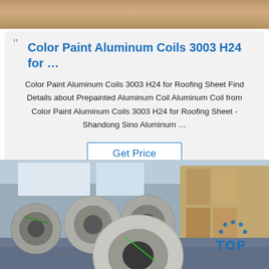[Figure (photo): Top portion showing stacked wooden pallets or blocks on a warehouse floor, partially cropped]
Color Paint Aluminum Coils 3003 H24 for …
Color Paint Aluminum Coils 3003 H24 for Roofing Sheet Find Details about Prepainted Aluminum Coil Aluminum Coil from Color Paint Aluminum Coils 3003 H24 for Roofing Sheet - Shandong Sino Aluminum …
[Figure (photo): Warehouse interior showing multiple large aluminum coils wrapped in brown paper, lined up on a factory floor with shelving in background. A 'TOP' logo with blue dots is visible in the lower right.]